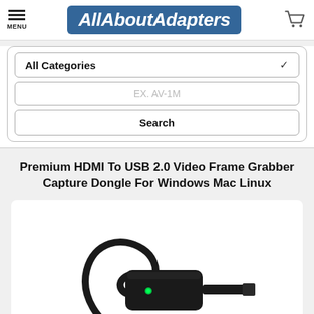AllAboutAdapters
All Categories
EX. AV-1M
Search
Premium HDMI To USB 2.0 Video Frame Grabber Capture Dongle For Windows Mac Linux
[Figure (photo): Black HDMI to USB 2.0 video frame grabber/capture dongle device with cable loop and green LED indicator]